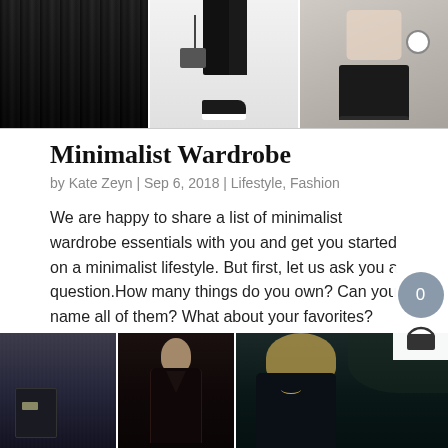[Figure (photo): Three-panel collage of minimalist fashion: left panel shows black pleated dress, center panel shows black trousers with slip-on sneakers and handbag, right panel shows hands holding black leather clutch with watch]
Minimalist Wardrobe
by Kate Zeyn | Sep 6, 2018 | Lifestyle, Fashion
We are happy to share a list of minimalist wardrobe essentials with you and get you started on a minimalist lifestyle. But first, let us ask you a question.How many things do you own? Can you name all of them? What about your favorites? The truth is we have hundreds...
[Figure (photo): Three-panel collage of dark fashion outfits: left shows dark jeans and black bag, center shows woman in black velvet dress, right panel partially visible showing blonde woman in dark outfit]